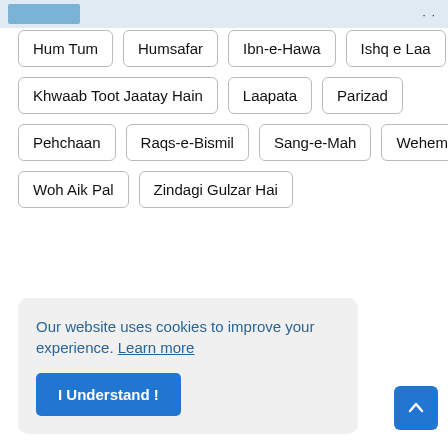Hum Tum
Humsafar
Ibn-e-Hawa
Ishq e Laa
Khwaab Toot Jaatay Hain
Laapata
Parizad
Pehchaan
Raqs-e-Bismil
Sang-e-Mah
Wehem
Woh Aik Pal
Zindagi Gulzar Hai
Our website uses cookies to improve your experience. Learn more
I Understand !